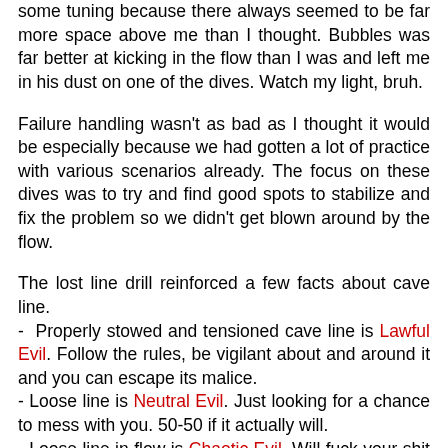some tuning because there always seemed to be far more space above me than I thought. Bubbles was far better at kicking in the flow than I was and left me in his dust on one of the dives. Watch my light, bruh.
Failure handling wasn't as bad as I thought it would be especially because we had gotten a lot of practice with various scenarios already. The focus on these dives was to try and find good spots to stabilize and fix the problem so we didn't get blown around by the flow.
The lost line drill reinforced a few facts about cave line. - Properly stowed and tensioned cave line is Lawful Evil. Follow the rules, be vigilant about and around it and you can escape its malice. - Loose line is Neutral Evil. Just looking for a chance to mess with you. 50-50 if it actually will. - Loose line in flow is Chaotic Evil. Will fuck your shit up just 'cause.
Strangely enough, I worked way harder when I was on triox for the last 2 dives, compared to EAN32 on the first 2. I think